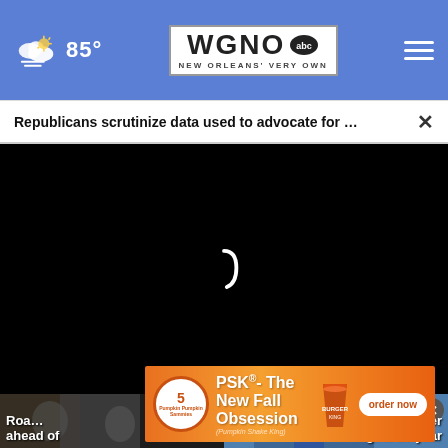85° | WGNO ABC New Orleans' Very Own | hamburger menu
Republicans scrutinize data used to advocate for ... ×
[Figure (screenshot): Black video player area with a loading spinner arc visible in the center]
[Figure (photo): Two thumbnail images side by side at bottom. Left: dark toned image with text 'Roa... ahead of'. Right: man in blue suit with text '...cer gets 10-year'. Close button overlay on right image.]
[Figure (infographic): Orange advertisement banner for PSK - The New Fall Obsession (Pumpkin Shake King) with circular logo showing 5, large text, a cup graphic, and 'order now' button]